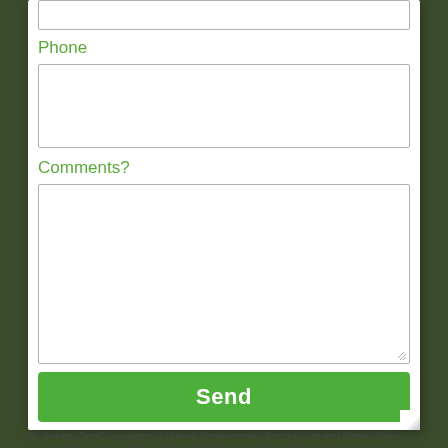Phone
[Figure (screenshot): Empty phone input text field with grey border]
Comments?
[Figure (screenshot): Empty comments textarea with grey border and resize handle]
[Figure (other): Green Send button]
By clicking "Send", you agree to UrbanX Development's Terms of Use and Privacy Policy. You consent to receive phone calls and SMS messages from UrbanX Development to provide updates on your inquiry and/or for marketing purposes. Message frequency depends on your activity. You may opt-out by texting "STOP". Message and data rates may apply."